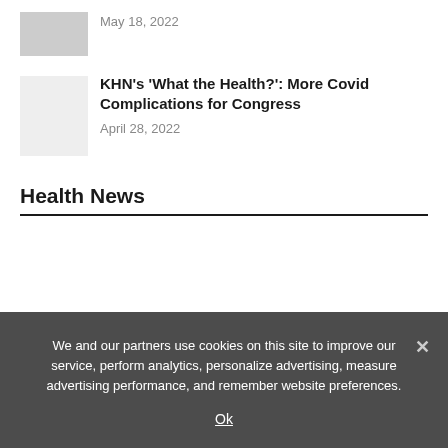[Figure (photo): Thumbnail image placeholder (gray box) for an article]
May 18, 2022
[Figure (photo): Thumbnail image placeholder (light gray box) for KHN article]
KHN's 'What the Health?': More Covid Complications for Congress
April 28, 2022
Health News
We and our partners use cookies on this site to improve our service, perform analytics, personalize advertising, measure advertising performance, and remember website preferences.
Ok